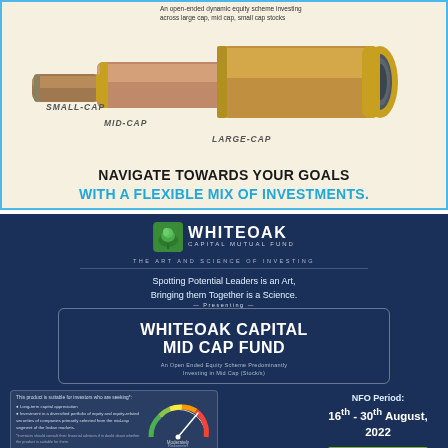An open-ended dynamic equity scheme investing across large cap, mid cap, small cap stocks
[Figure (illustration): A brass telescope with leather grip. Labels indicate SMALL-CAP (narrow end), MID-CAP (middle), LARGE-CAP (wide eyepiece end).]
NAVIGATE TOWARDS YOUR GOALS
WITH A FLEXIBLE MIX OF INVESTMENTS.
[Figure (logo): WhiteOak Capital Mutual Fund logo with green tree icon]
THE ART AND SCIENCE OF INVESTING
Spotting Potential Leaders is an Art, Bringing them Together is a Science.
Presenting
WHITEOAK CAPITAL MID CAP FUND
An Open Ended Equity Scheme Predominantly Investing in Mid Cap (Stock/s)
This product is suitable for investors who are seeking*:
• Long-term capital appreciation
• Investment in a diversified portfolio of equity and equity-related securities of companies primarily selected from the mid-cap segment of the Indian markets.
*Investors should consult their financial advisors if in doubt about whether the product is suitable for them.
NFO Period:
16th - 30th August, 2022
INVEST NOW